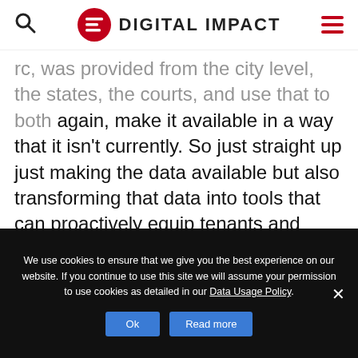DIGITAL IMPACT
rc, was provided from the city level, the states, the courts, and use that to both again, make it available in a way that it isn't currently. So just straight up just making the data available but also transforming that data into tools that can proactively equip tenants and tenant organizers to actually take action. So, that includes data on shell company networks, real estate finance that can give folks a much better lens onto who
We use cookies to ensure that we give you the best experience on our website. If you continue to use this site we will assume your permission to use cookies as detailed in our Data Usage Policy.